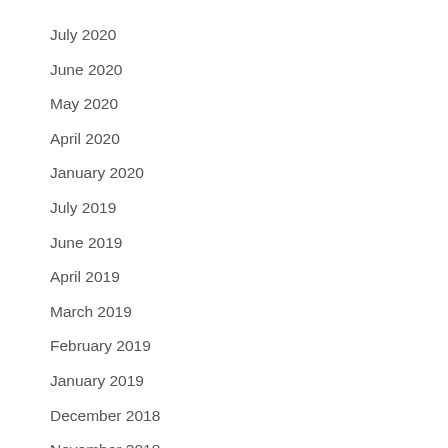July 2020
June 2020
May 2020
April 2020
January 2020
July 2019
June 2019
April 2019
March 2019
February 2019
January 2019
December 2018
November 2018
October 2018
September 2018